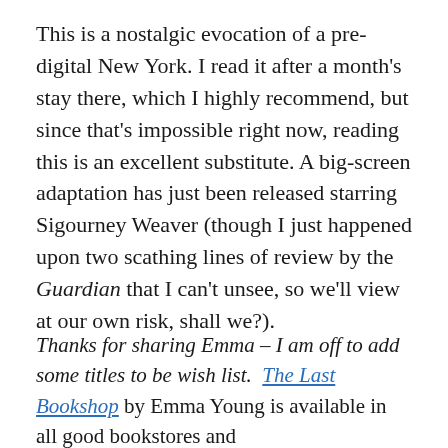This is a nostalgic evocation of a pre-digital New York. I read it after a month's stay there, which I highly recommend, but since that's impossible right now, reading this is an excellent substitute. A big-screen adaptation has just been released starring Sigourney Weaver (though I just happened upon two scathing lines of review by the Guardian that I can't unsee, so we'll view at our own risk, shall we?).
Thanks for sharing Emma – I am off to add some titles to be wish list.  The Last Bookshop by Emma Young is available in all good bookstores and